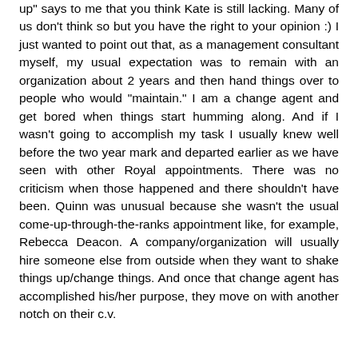up" says to me that you think Kate is still lacking. Many of us don't think so but you have the right to your opinion :) I just wanted to point out that, as a management consultant myself, my usual expectation was to remain with an organization about 2 years and then hand things over to people who would "maintain." I am a change agent and get bored when things start humming along. And if I wasn't going to accomplish my task I usually knew well before the two year mark and departed earlier as we have seen with other Royal appointments. There was no criticism when those happened and there shouldn't have been. Quinn was unusual because she wasn't the usual come-up-through-the-ranks appointment like, for example, Rebecca Deacon. A company/organization will usually hire someone else from outside when they want to shake things up/change things. And once that change agent has accomplished his/her purpose, they move on with another notch on their c.v.